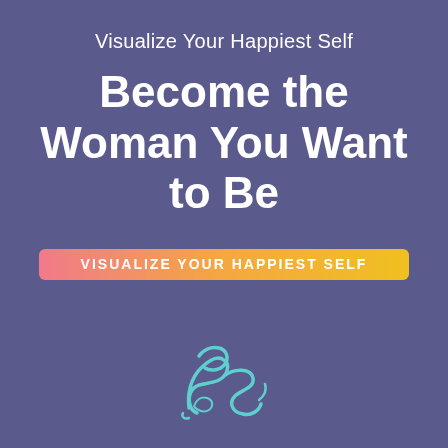Visualize Your Happiest Self
Become the Woman You Want to Be
VISUALIZE YOUR HAPPIEST SELF
[Figure (logo): Stylized cursive 'PS' monogram logo in teal/turquoise color]